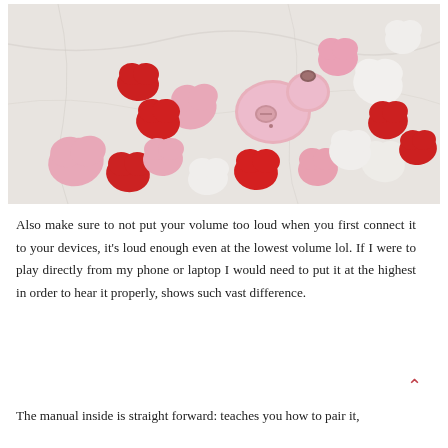[Figure (photo): A pink wireless earbud or small Bluetooth speaker surrounded by heart-shaped candies in red, pink, and white colors on a marble surface.]
Also make sure to not put your volume too loud when you first connect it to your devices, it's loud enough even at the lowest volume lol. If I were to play directly from my phone or laptop I would need to put it at the highest in order to hear it properly, shows such vast difference.
The manual inside is straight forward: teaches you how to pair it,